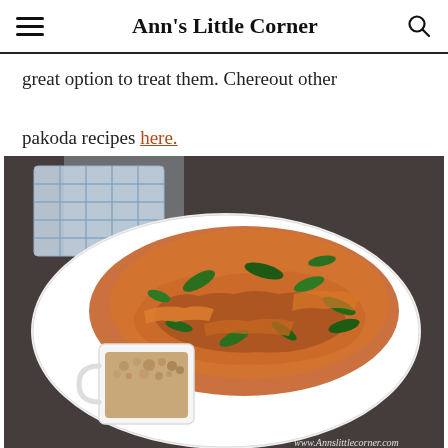Ann's Little Corner
great option to treat them. Chereout other pakoda recipes here.
[Figure (photo): A white oval plate piled with crispy fried onion pakoda fritters with green curry leaves, alongside a small white square cup of chai tea. A blue and white checkered cloth is in the background. The image has a watermark: www.Annslittlecorner.com]